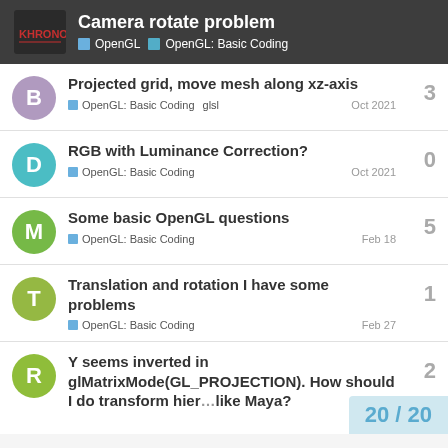Camera rotate problem | OpenGL > OpenGL: Basic Coding
Projected grid, move mesh along xz-axis | OpenGL: Basic Coding  glsl | Oct 2021 | replies: 3
RGB with Luminance Correction? | OpenGL: Basic Coding | Oct 2021 | replies: 0
Some basic OpenGL questions | OpenGL: Basic Coding | Feb 18 | replies: 5
Translation and rotation I have some problems | OpenGL: Basic Coding | Feb 27 | replies: 1
Y seems inverted in glMatrixMode(GL_PROJECTION). How should I do transform hierarchy like Maya? | replies: 2 | 20 / 20